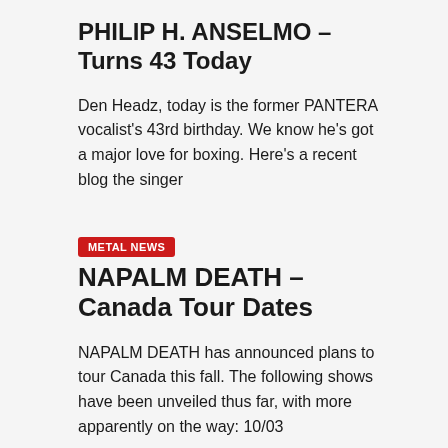PHILIP H. ANSELMO – Turns 43 Today
Den Headz, today is the former PANTERA vocalist's 43rd birthday. We know he's got a major love for boxing. Here's a recent blog the singer
METAL NEWS
NAPALM DEATH – Canada Tour Dates
NAPALM DEATH has announced plans to tour Canada this fall. The following shows have been unveiled thus far, with more apparently on the way: 10/03